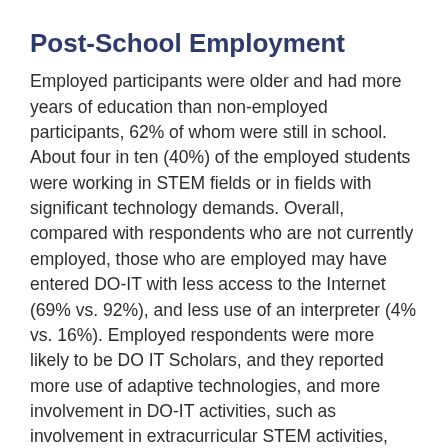Post-School Employment
Employed participants were older and had more years of education than non-employed participants, 62% of whom were still in school. About four in ten (40%) of the employed students were working in STEM fields or in fields with significant technology demands. Overall, compared with respondents who are not currently employed, those who are employed may have entered DO-IT with less access to the Internet (69% vs. 92%), and less use of an interpreter (4% vs. 16%). Employed respondents were more likely to be DO IT Scholars, and they reported more use of adaptive technologies, and more involvement in DO-IT activities, such as involvement in extracurricular STEM activities, assisting with conferences or serving as a DO-IT panelist or presenter, and more involvement in pre-employment activities such as information